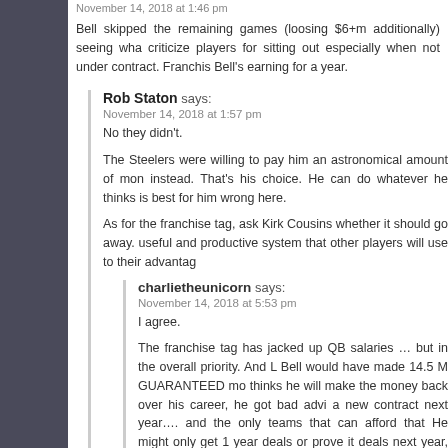November 14, 2018 at 1:46 pm
Bell skipped the remaining games (loosing $6+m additionally) seeing wha... criticize players for sitting out especially when not under contract. Franchi... Bell's earning for a year.
Rob Staton says: November 14, 2018 at 1:57 pm
No they didn't.
The Steelers were willing to pay him an astronomical amount of mon... instead. That's his choice. He can do whatever he thinks is best for him... wrong here.
As for the franchise tag, ask Kirk Cousins whether it should go away.... useful and productive system that other players will use to their advantag...
charlietheunicorn says: November 14, 2018 at 5:53 pm
I agree.
The franchise tag has jacked up QB salaries … but in the overall... priority. And L Bell would have made 14.5 M GUARANTEED mo... thinks he will make the money back over his career, he got bad advi... a new contract next year…. and the only teams that can afford that... He might only get 1 year deals or prove it deals next year, for far le... has unlimited time as a RB.
Side note: John Clayton has railed against this deal from the get-go... daily show on 710ESPN. He has reportedly said it wasn't one of th...